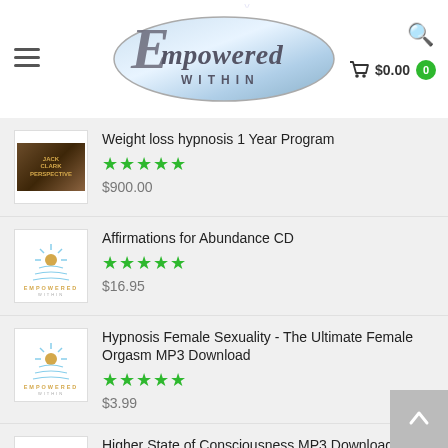[Figure (logo): Empowered Within logo with stylized script text and blue oval background, search icon, hamburger menu, and cart showing $0.00]
Weight loss hypnosis 1 Year Program ★★★★★ $900.00
Affirmations for Abundance CD ★★★★★ $16.95
Hypnosis Female Sexuality - The Ultimate Female Orgasm MP3 Download ★★★★★ $3.99
Higher State of Consciousness MP3 Download